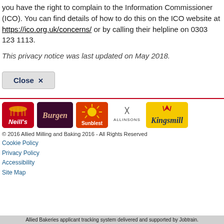you have the right to complain to the Information Commissioner (ICO). You can find details of how to do this on the ICO website at https://ico.org.uk/concerns/ or by calling their helpline on 0303 123 1113.
This privacy notice was last updated on May 2018.
Close ×
[Figure (logo): Brand logos: Neill's (red), Burgen (dark purple), Sunblest (red/orange), Allinsons (monochrome), Kingsmill (yellow)]
© 2016 Allied Milling and Baking 2016 - All Rights Reserved
Cookie Policy
Privacy Policy
Accessibility
Site Map
Allied Bakeries applicant tracking system delivered and supported by Jobtrain.